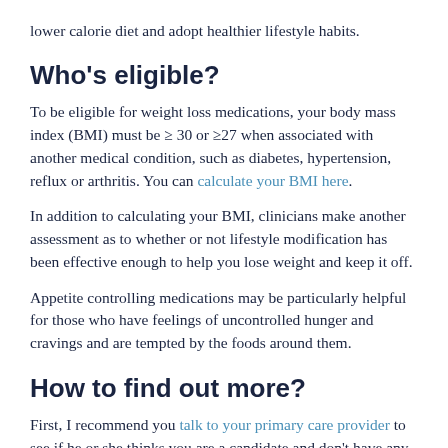lower calorie diet and adopt healthier lifestyle habits.
Who's eligible?
To be eligible for weight loss medications, your body mass index (BMI) must be ≥ 30 or ≥27 when associated with another medical condition, such as diabetes, hypertension, reflux or arthritis. You can calculate your BMI here.
In addition to calculating your BMI, clinicians make another assessment as to whether or not lifestyle modification has been effective enough to help you lose weight and keep it off.
Appetite controlling medications may be particularly helpful for those who have feelings of uncontrolled hunger and cravings and are tempted by the foods around them.
How to find out more?
First, I recommend you talk to your primary care provider to see if he or she thinks you are a candidate and don't have any contraindications which may include an underlying medical condition, interference with other drugs you are taking, or a